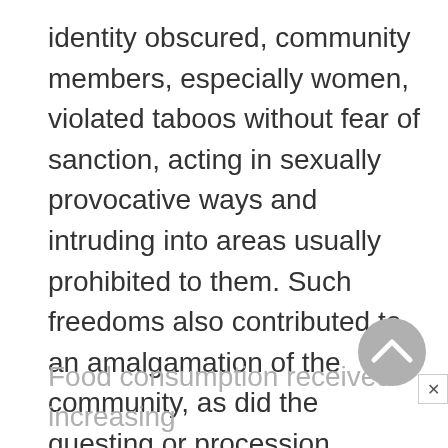identity obscured, community members, especially women, violated taboos without fear of sanction, acting in sexually provocative ways and intruding into areas usually prohibited to them. Such freedoms also contributed to an amalgamation of the community, as did the questing or procession throughout the communal space that often accompanied masking.
Food consumption received increasing